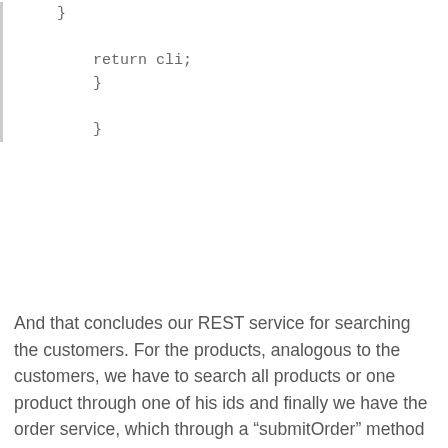[Figure (other): Code snippet showing closing braces and return statement: 'return cli;' followed by closing braces]
And that concludes our REST service for searching the customers. For the products, analogous to the customers, we have to search all products or one product through one of his ids and finally we have the order service, which through a “submitOrder” method gets the data of a product and a customer – whose keys are passed as parameters to the method – and return a order header. The classes that make up our product service within its Product-backend project are the following: